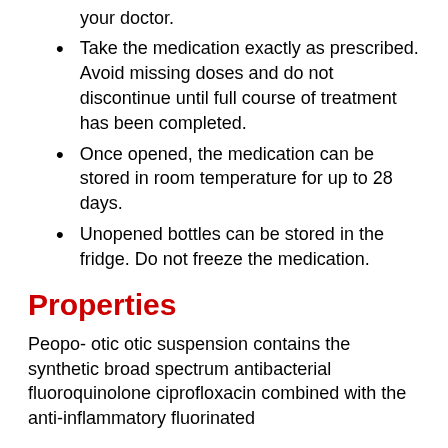your doctor.
Take the medication exactly as prescribed. Avoid missing doses and do not discontinue until full course of treatment has been completed.
Once opened, the medication can be stored in room temperature for up to 28 days.
Unopened bottles can be stored in the fridge. Do not freeze the medication.
Properties
Peopo- otic otic suspension contains the synthetic broad spectrum antibacterial fluoroquinolone ciprofloxacin combined with the anti-inflammatory fluorinated